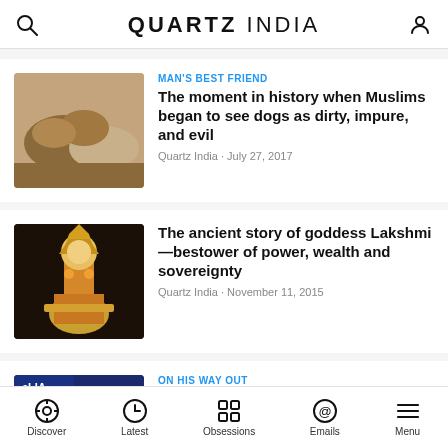QUARTZ INDIA
[Figure (photo): Two dogs resting together]
MAN'S BEST FRIEND
The moment in history when Muslims began to see dogs as dirty, impure, and evil
Quartz India · July 27, 2017
[Figure (photo): Woman dressed as goddess Lakshmi in traditional attire]
The ancient story of goddess Lakshmi—bestower of power, wealth and sovereignty
Quartz India · November 11, 2015
[Figure (photo): Anil Ambani in front of Reliance sign]
ON HIS WAY OUT
Why Anil Ambani had to quit the boards of his own companies
Discover | Latest | Obsessions | Emails | Menu